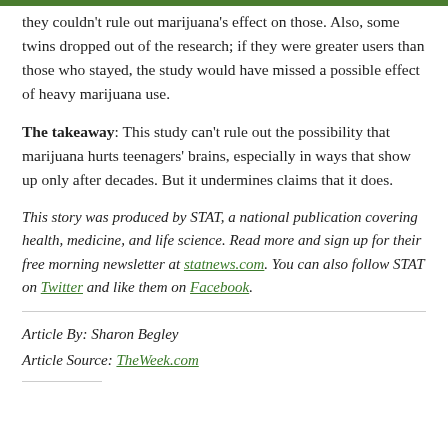they couldn't rule out marijuana's effect on those. Also, some twins dropped out of the research; if they were greater users than those who stayed, the study would have missed a possible effect of heavy marijuana use.
The takeaway: This study can't rule out the possibility that marijuana hurts teenagers' brains, especially in ways that show up only after decades. But it undermines claims that it does.
This story was produced by STAT, a national publication covering health, medicine, and life science. Read more and sign up for their free morning newsletter at statnews.com. You can also follow STAT on Twitter and like them on Facebook.
Article By: Sharon Begley
Article Source: TheWeek.com